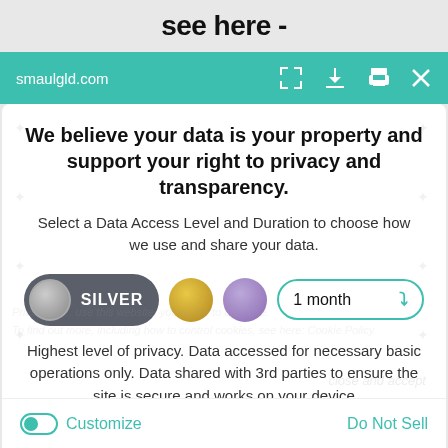see here -
smaulgld.com
We believe your data is your property and support your right to privacy and transparency.
Select a Data Access Level and Duration to choose how we use and share your data.
[Figure (infographic): Data access level selector row: SILVER button (dark grey pill with grey metallic circle), gold circle, purple circle, and a '1 month' dropdown with teal border and chevron]
Highest level of privacy. Data accessed for necessary basic operations only. Data shared with 3rd parties to ensure the site is secure and works on your device
Save my preferences
Customize
Do Not Sell